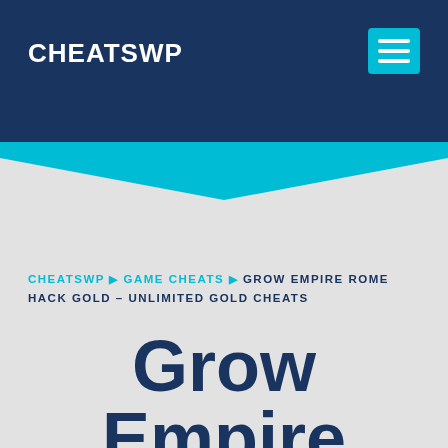CHEATSWP
CHEATSWP ▶ GAME CHEATS ▶ GROW EMPIRE ROME HACK GOLD – UNLIMITED GOLD CHEATS
Grow Empire Rome Hack Gold